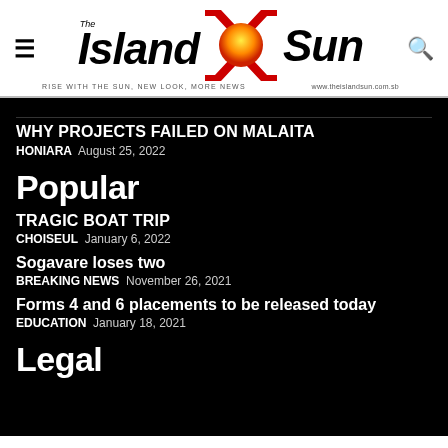[Figure (logo): The Island Sun newspaper logo with hamburger menu icon and search icon. Logo includes stylized text 'The Island Sun' with a sun graphic between arrows, tagline 'RISE WITH THE SUN, NEW LOOK, MORE NEWS' and URL www.theislandsun.com.sb]
WHY PROJECTS FAILED ON MALAITA
HONIARA  August 25, 2022
Popular
TRAGIC BOAT TRIP
CHOISEUL  January 6, 2022
Sogavare loses two
BREAKING NEWS  November 26, 2021
Forms 4 and 6 placements to be released today
EDUCATION  January 18, 2021
Legal